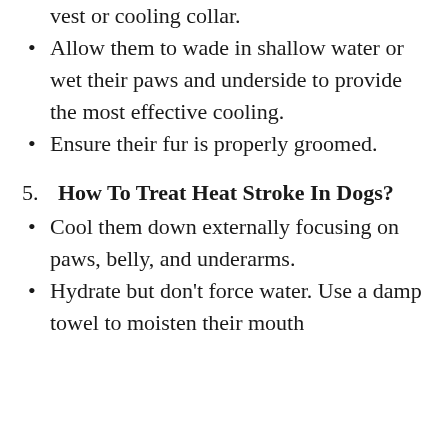Keep your dog cool with a cooling vest or cooling collar.
Allow them to wade in shallow water or wet their paws and underside to provide the most effective cooling.
Ensure their fur is properly groomed.
5. How To Treat Heat Stroke In Dogs?
Cool them down externally focusing on paws, belly, and underarms.
Hydrate but don't force water. Use a damp towel to moisten their mouth